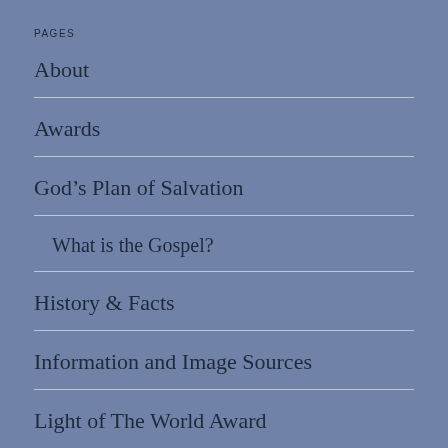PAGES
About
Awards
God's Plan of Salvation
What is the Gospel?
History & Facts
Information and Image Sources
Light of The World Award